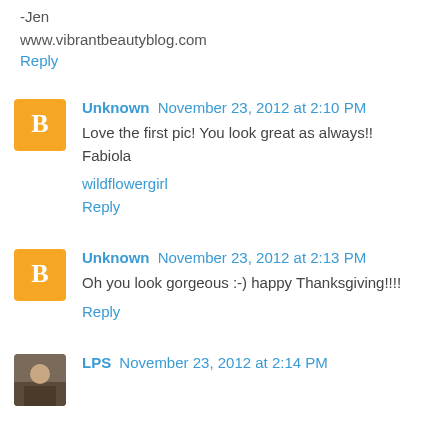-Jen
www.vibrantbeautyblog.com
Reply
Unknown  November 23, 2012 at 2:10 PM
Love the first pic! You look great as always!! Fabiola
wildflowergirl
Reply
Unknown  November 23, 2012 at 2:13 PM
Oh you look gorgeous :-) happy Thanksgiving!!!!
Reply
LPS  November 23, 2012 at 2:14 PM